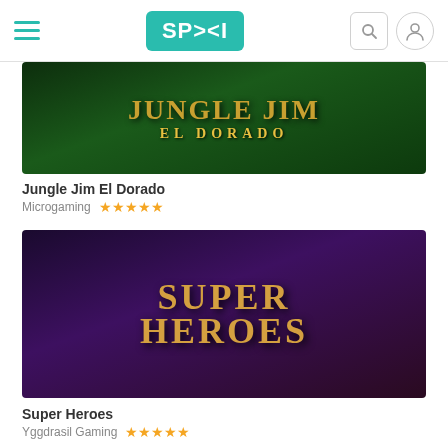SPIN | Casino games listing page
[Figure (screenshot): Jungle Jim El Dorado slot game thumbnail with gold text on dark jungle background]
Jungle Jim El Dorado
Microgaming ★★★★★
[Figure (screenshot): Super Heroes slot game thumbnail with superhero characters on dark purple background]
Super Heroes
Yggdrasil Gaming ★★★★★
[Figure (screenshot): Partially visible third game thumbnail at bottom of page]